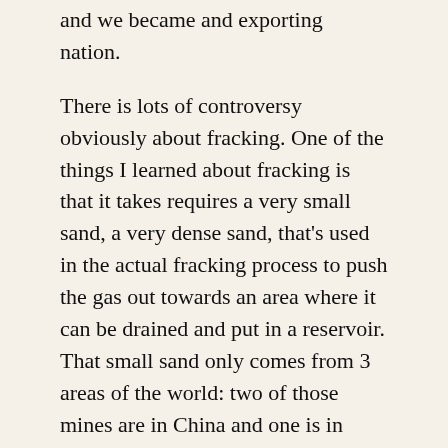and we became and exporting nation.
There is lots of controversy obviously about fracking. One of the things I learned about fracking is that it takes requires a very small sand, a very dense sand, that's used in the actual fracking process to push the gas out towards an area where it can be drained and put in a reservoir. That small sand only comes from 3 areas of the world: two of those mines are in China and one is in Kuwait.
So then I started thinking, let's follow the bouncing ball here. Who takes the risk? Who pays for it? And what is involved in this whole process of fracking? You follow the sand into the country. It goes to the central part of our country—Oklahoma, Tennessee, wherever the gas fracking conditions and the…